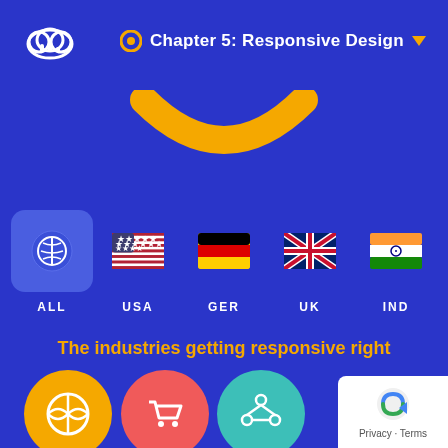Chapter 5: Responsive Design
[Figure (illustration): Yellow smile/arc shape decorative element]
[Figure (infographic): Country filter bar with ALL (active/globe icon), USA flag, GER flag, UK flag, IND flag filter buttons]
The industries getting responsive right
[Figure (illustration): Three circular icons at bottom: yellow basketball icon, red shopping cart icon, teal sharing/network icon]
Privacy - Terms